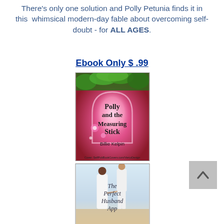There's only one solution and Polly Petunia finds it in this  whimsical modern-day fable about overcoming self-doubt - for ALL AGES.
Ebook Only $ .99
[Figure (photo): Book cover for 'Polly and the Measuring Stick' by Billie Kelpin. Cover art shows a magical doorway with glowing pink/purple light, surrounded by green foliage. Cover credit: SelfPubBookCovers.com/VarcoDesign]
[Figure (photo): Book cover for 'The Perfect Husband App' showing two people in white clothing holding hands on a beach.]
[Figure (other): Gray scroll-to-top button with upward-pointing chevron arrow]